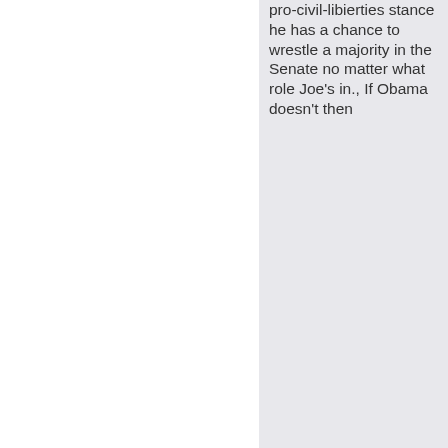pro-civil-libierties stance he has a chance to wrestle a majority in the Senate no matter what role Joe's in., If Obama doesn't then